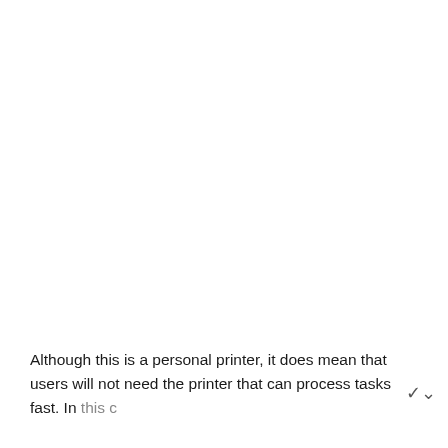Although this is a personal printer, it does mean that users will not need the printer that can process tasks fast. In this c